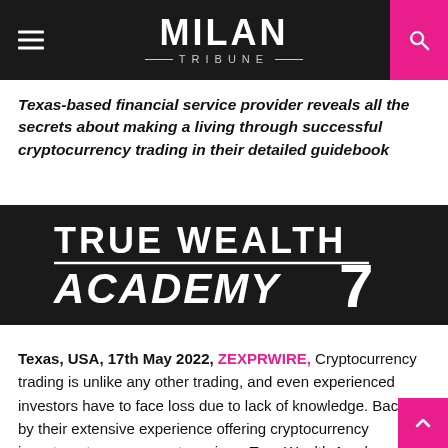MILAN TRIBUNE
Texas-based financial service provider reveals all the secrets about making a living through successful cryptocurrency trading in their detailed guidebook
[Figure (logo): True Wealth Academy 7 logo — white text on black background, bold sans-serif, large stylized number 7]
Texas, USA, 17th May 2022, ZEXPRWIRE, Cryptocurrency trading is unlike any other trading, and even experienced investors have to face loss due to lack of knowledge. Backed by their extensive experience offering cryptocurrency investment management services, True Wealth Academy has launched a detailed guidebook on "Cryptocurrency Secrets". It aims to educate beginners and veterans about making a living with successful